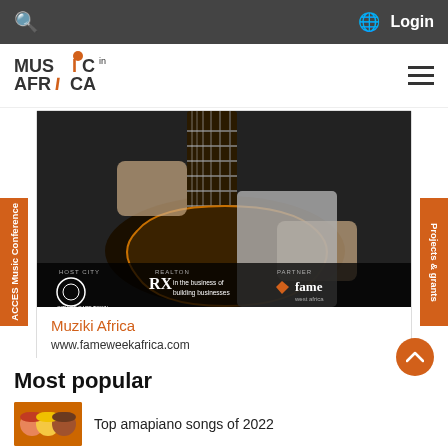Search | Globe | Login
[Figure (logo): Music in Africa logo with orange dot on the i]
[Figure (photo): Person playing acoustic guitar, with sponsor logos below including City of Cape Town, RX 'In the business of building businesses', and fame west africa]
Muziki Africa
www.fameweekafrica.com
Most popular
[Figure (photo): Thumbnail image of people for Top amapiano songs of 2022 article]
Top amapiano songs of 2022